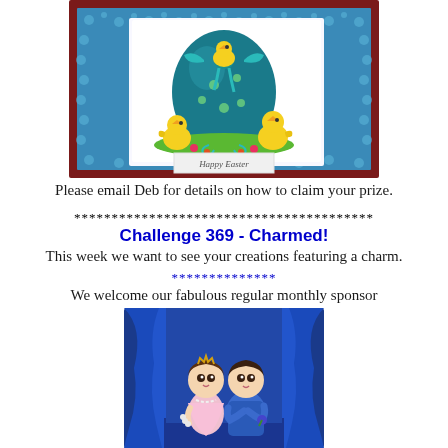[Figure (illustration): An Easter greeting card with a large teal/blue decorated Easter egg with a teal bow, surrounded by yellow baby chicks on green grass with flowers. The card has a blue floral patterned border and a dark maroon outer frame. A banner at the bottom reads 'Happy Easter'.]
Please email Deb for details on how to claim your prize.
****************************************
Challenge 369 - Charmed!
This week we want to see your creations featuring a charm.
**************
We welcome our fabulous regular monthly sponsor
[Figure (illustration): A digital illustration of two cartoon children on a stage with blue curtains. A girl in a pink dress with pearls and a boy in a blue shirt, both in a stylized anime/chibi style.]